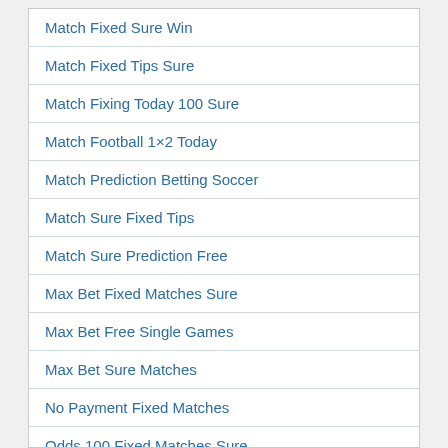Match Fixed Sure Win
Match Fixed Tips Sure
Match Fixing Today 100 Sure
Match Football 1×2 Today
Match Prediction Betting Soccer
Match Sure Fixed Tips
Match Sure Prediction Free
Max Bet Fixed Matches Sure
Max Bet Free Single Games
Max Bet Sure Matches
No Payment Fixed Matches
Odds 100 Fixed Matches Sure
Online Betting Sure Tips
Online Fixed Matches Site
Online Soccer Betting Prediction